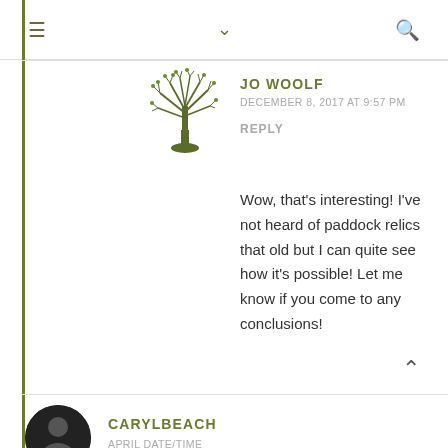≡  ∨  🔍
JO WOOLF
DECEMBER 8, 2017 AT 9:57 PM
REPLY
Wow, that's interesting! I've not heard of paddock relics that old but I can quite see how it's possible! Let me know if you come to any conclusions!
CARYLBEACH